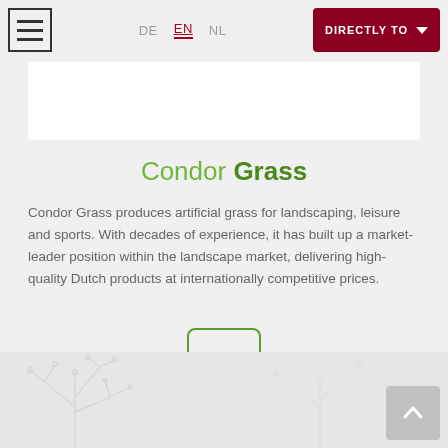DE  EN  NL  DIRECTLY TO
Condor Grass
Condor Grass produces artificial grass for landscaping, leisure and sports. With decades of experience, it has built up a market-leader position within the landscape market, delivering high-quality Dutch products at internationally competitive prices.
[Figure (other): Green rounded rectangle button with a right-pointing arrow (>) symbol inside]
[Figure (photo): Bottom portion of page showing decorative plant/branch silhouettes on a light grey background, with a scroll-to-top button (upward chevron) in the bottom-right corner]